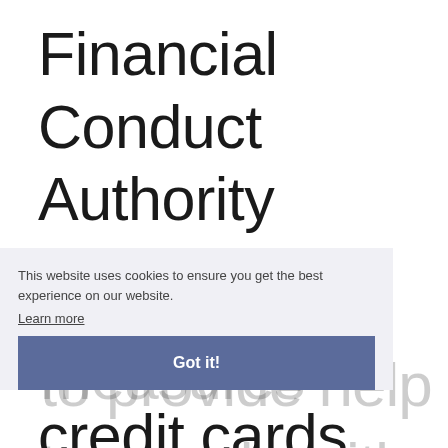Financial Conduct Authority (FCA) told firms to extend measures to provide help to people with credit cards
This website uses cookies to ensure you get the best experience on our website.
Learn more
Got it!